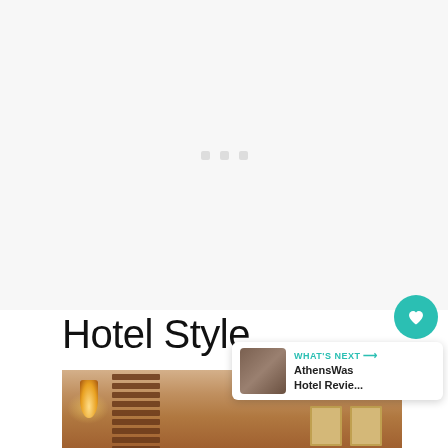[Figure (other): White/light grey blank content area with three small square dots in the center, indicating a loading or placeholder state]
Hotel Style
[Figure (photo): Interior photo of a hotel lobby or corridor showing warm amber/gold toned walls, a wall sconce light on the left, wooden shuttered panels, and framed artworks on the right side]
[Figure (other): WHAT'S NEXT arrow badge showing AthensWas Hotel Revie... with thumbnail image]
[Figure (other): Teal circular favorite (heart) button]
[Figure (other): Teal circular share button]